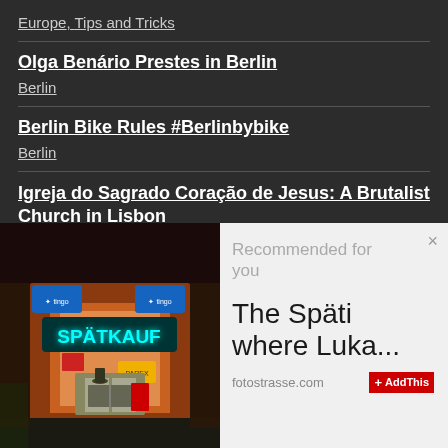Europe, Tips and Tricks
Olga Benário Prestes in Berlin
Berlin
Berlin Bike Rules #Berlinbybike
Berlin
Igreja do Sagrado Coração de Jesus: A Brutalist Church in Lisbon
[Figure (photo): Nighttime photo of a Spätkauf (late-night convenience store) with bright cyan neon sign reading SPÄTKAUF]
Recommended for you
The Späti where Luka...
fotostrasse.com